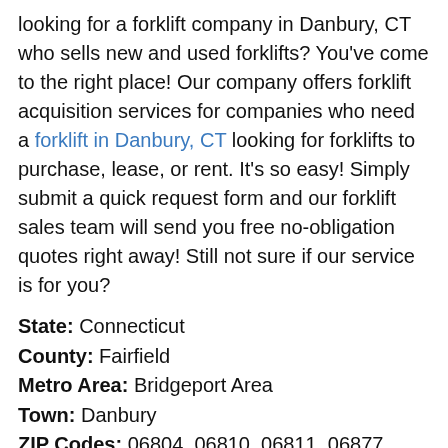looking for a forklift company in Danbury, CT who sells new and used forklifts? You've come to the right place! Our company offers forklift acquisition services for companies who need a forklift in Danbury, CT looking for forklifts to purchase, lease, or rent. It's so easy! Simply submit a quick request form and our forklift sales team will send you free no-obligation quotes right away! Still not sure if our service is for you?
State: Connecticut
County: Fairfield
Metro Area: Bridgeport Area
Town: Danbury
ZIP Codes: 06804, 06810, 06811, 06877
Neighboring Towns: Brookfield, New Fairfield
If you are asking any of these questions, then we can definitely help: